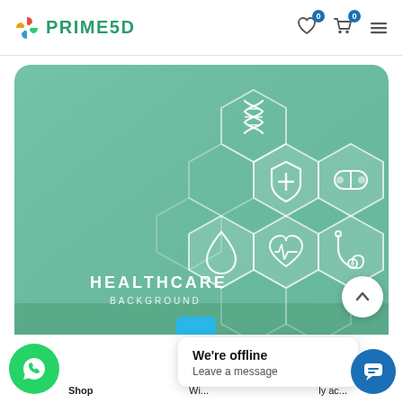[Figure (logo): Prime5D logo with colorful star/pinwheel icon and green text PRIME5D]
[Figure (illustration): Healthcare background banner: teal/mint colored card with hexagonal pattern and white medical icons including DNA, shield with cross, pill capsule, water drop, heart with pulse, and stethoscope. Text reads HEALTHCARE BACKGROUND in white letters.]
We're offline
Leave a message
Shop
Wi...
ly ac...